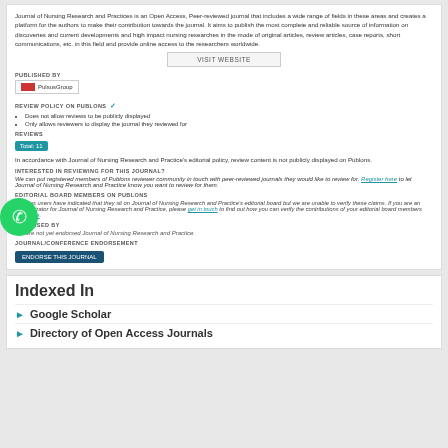Journal of Nursing Research and Practices is an Open Access, Peer-reviewed journal that includes a wide range of fields in these areas and creates a platform for the authors to make their contribution towards the journal. It aims to publish the most complete and reliable source of information on discoveries and current developments and high impact nursing researches in the mode of original articles, review articles, case reports, short communications, etc. in this field and provide online access to the researchers worldwide.
VISIT WEBSITE
PUBLISHED BY
PulsusGroup
REVIEW POLICY ON PUBLONS
Does not allow reviews to be publicly displayed
Only allows reviewers to display the journal they reviewed for
REVIEWS
Total: 11
In accordance with Journal of Nursing Research and Practice's editorial policy, review content is not publicly displayed on Publons.
INTERESTED IN REVIEWING FOR THIS JOURNAL?
We can put registered members of Publons reviewer community in touch with peer-reviewed journals they would like to review for. Register here to let Journal of Nursing Research and Practice know you want to review for them.
EDITORIAL BOARD MEMBERS ON PUBLONS
Publons users have indicated that they sit on Journal of Nursing Research and Practice's editorial board but we are unable to verify these claims. If you are an administrator for Journal of Nursing Research and Practice, please get in touch to find out how you can verify the contributions of your editorial board members and more.
ENDORSED BY
We are not yet endorsed Journal of Nursing Research and Practice.
JOURNAL/CONFERENCE ENDORSEMENT
ENDORSE THIS JOURNAL
Indexed In
Google Scholar
Directory of Open Access Journals